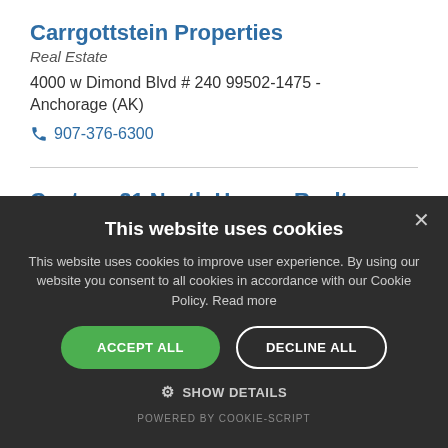Carrgottstein Properties
Real Estate
4000 w Dimond Blvd # 240 99502-1475 - Anchorage (AK)
907-376-6300
Century 21 North Homes Realty
Real Estate
400 w Tudor Rd # A440 99503-6614 -
This website uses cookies
This website uses cookies to improve user experience. By using our website you consent to all cookies in accordance with our Cookie Policy. Read more
ACCEPT ALL
DECLINE ALL
SHOW DETAILS
POWERED BY COOKIE-SCRIPT